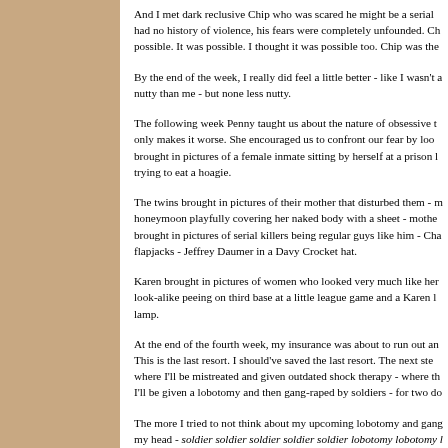And I met dark reclusive Chip who was scared he might be a serial had no history of violence, his fears were completely unfounded. Ch possible. It was possible. I thought it was possible too. Chip was the
By the end of the week, I really did feel a little better - like I wasn't a nutty than me - but none less nutty.
The following week Penny taught us about the nature of obsessive t only makes it worse. She encouraged us to confront our fear by loo brought in pictures of a female inmate sitting by herself at a prison l trying to eat a hoagie.
The twins brought in pictures of their mother that disturbed them - m honeymoon playfully covering her naked body with a sheet - mothe brought in pictures of serial killers being regular guys like him - Cha flapjacks - Jeffrey Daumer in a Davy Crocket hat.
Karen brought in pictures of women who looked very much like her look-alike peeing on third base at a little league game and a Karen l lamp.
At the end of the fourth week, my insurance was about to run out an This is the last resort. I should've saved the last resort. The next ste where I'll be mistreated and given outdated shock therapy - where th I'll be given a lobotomy and then gang-raped by soldiers - for two do
The more I tried to not think about my upcoming lobotomy and gang my head - soldier soldier soldier soldier soldier lobotomy lobotomy l exactly like the pink elephant. Oh no… now I'm thinking of a pink el